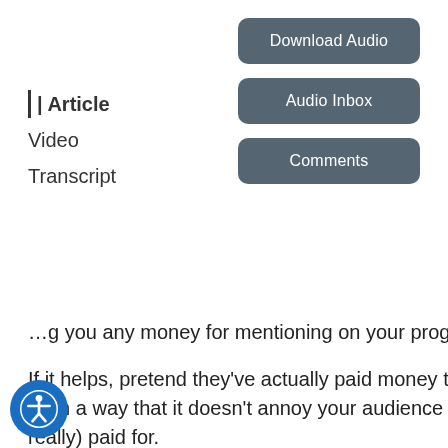| Article
Video
Transcript
Download Audio
Audio Inbox
Comments
…g on your program.
If it helps, pretend they've actually paid money to you and your job is to make an ad and run it in your show in such a way that it doesn't annoy your audience and gets the organization or cause the exposure they've (not really) paid for.
How will you incorporate that message into your show? How long will it be? Will you use bed music to show it's different from the rest of the content? Where's a good place to run the ad? What do you need to do structure-wise to make that happen?